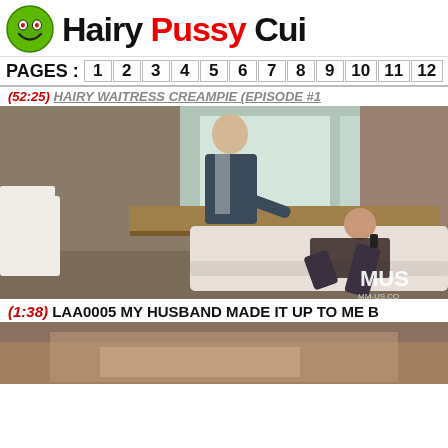Hairy Pussy Cui
PAGES: 1 2 3 4 5 6 7 8 9 10 11 12
(52:25) HAIRY WAITRESS CREAMPIE (EPISODE #1)
[Figure (photo): Video thumbnail showing a man in a suit standing over a woman on a white sofa in a modern living room. Watermark MUS / MM-US.CO visible in bottom right.]
(1:38) LAA0005 MY HUSBAND MADE IT UP TO ME B
[Figure (photo): Partial video thumbnail at bottom of page, cropped.]